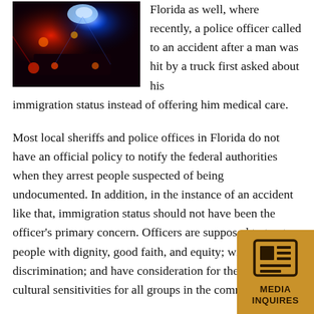[Figure (photo): Police car with red and blue lights at night, dark atmospheric scene]
Florida as well, where recently, a police officer called to an accident after a man was hit by a truck first asked about his immigration status instead of offering him medical care.
Most local sheriffs and police offices in Florida do not have an official policy to notify the federal authorities when they arrest people suspected of being undocumented. In addition, in the instance of an accident like that, immigration status should not have been the officer's primary concern. Officers are supposed to treat people with dignity, good faith, and equity; without discrimination; and have consideration for the values and cultural sensitivities for all groups in the community.
“Sanctuary City” Laws
The Trump administration and Florida House have both threatened penalties against “sanctuary cities,” or those refuse to turn over suspected undocumented immigra
[Figure (illustration): Media Inquires badge - golden/amber square with newspaper icon and text MEDIA INQUIRES]